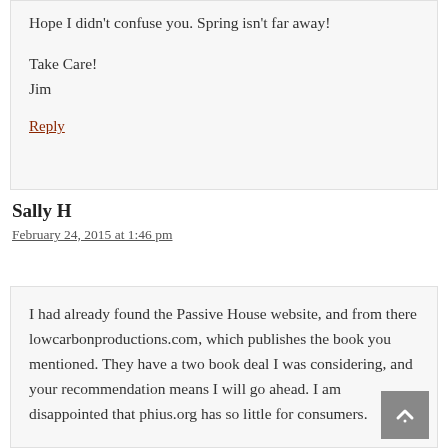Hope I didn't confuse you. Spring isn't far away!
Take Care!
Jim
Reply
Sally H
February 24, 2015 at 1:46 pm
I had already found the Passive House website, and from there lowcarbonproductions.com, which publishes the book you mentioned. They have a two book deal I was considering, and your recommendation means I will go ahead. I am disappointed that phius.org has so little for consumers.